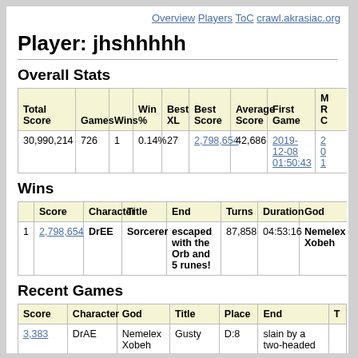Overview   Players   ToC   crawl.akrasiac.org
Player: jhshhhhh
Overall Stats
| Total Score | Games | Wins | Win % | Best XL | Best Score | Average Score | First Game | M R C |
| --- | --- | --- | --- | --- | --- | --- | --- | --- |
| 30,990,214 | 726 | 1 | 0.14% | 27 | 2,798,654 | 42,686 | 2019-12-08 01:50:43 | 2 0 1 |
Wins
|  | Score | Character | Title | End | Turns | Duration | God |
| --- | --- | --- | --- | --- | --- | --- | --- |
| 1 | 2,798,654 | DrEE | Sorcerer | escaped with the Orb and 5 runes! | 87,858 | 04:53:16 | Nemelex Xobeh |
Recent Games
| Score | Character | God | Title | Place | End | T |
| --- | --- | --- | --- | --- | --- | --- |
| 3,383 | DrAE | Nemelex Xobeh | Gusty | D:8 | slain by a two-headed |  |